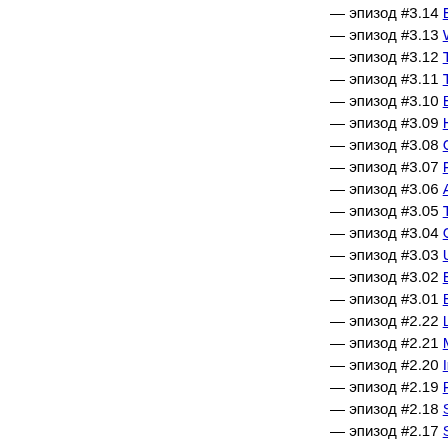— эпизод #3.14 Everlasting
— эпизод #3.13 Warning Sho
— эпизод #3.12 Two Legend
— эпизод #3.11 Technology
— эпизод #3.10 Balance of M
— эпизод #3.09 Hot Burning
— эпизод #3.08 City Folks U
— эпизод #3.07 Fix My Pres
— эпизод #3.06 Adoring Sus
— эпизод #3.05 This Profour
— эпизод #3.04 Gunplay Rio
— эпизод #3.03 Upside Dow
— эпизод #3.02 Enemy Bag
— эпизод #3.01 Back to the
— эпизод #2.22 Lepers Rep
— эпизод #2.21 Mom [2017.
— эпизод #2.20 In Words, D
— эпизод #2.19 Regard a Mo
— эпизод #2.18 Senile Lines
— эпизод #2.17 Solos [2017